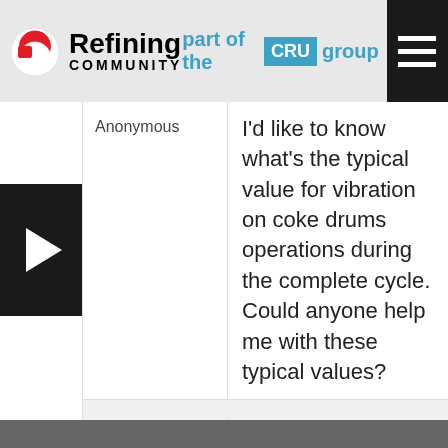Refining Community — part of the CRU group
Anonymous
I'd like to know what's the typical value for vibration on coke drums operations during the complete cycle. Could anyone help me with these typical values?
| Author | Posts |
| --- | --- |
You must be logged in to reply to this topic.